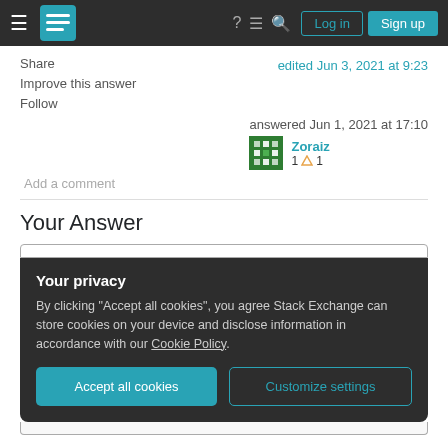Stack Exchange navigation bar with Log in and Sign up buttons
Share
Improve this answer
Follow
edited Jun 3, 2021 at 9:23
answered Jun 1, 2021 at 17:10
Zoraiz
1 △1
Add a comment
Your Answer
Your privacy
By clicking "Accept all cookies", you agree Stack Exchange can store cookies on your device and disclose information in accordance with our Cookie Policy.
Accept all cookies
Customize settings